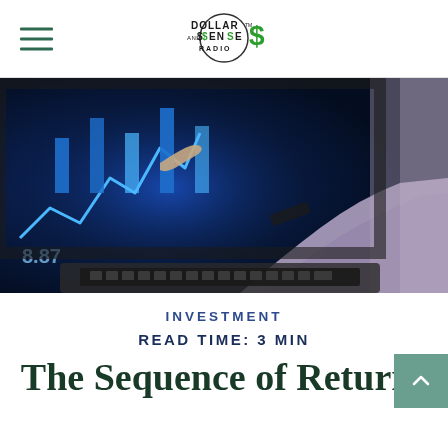Dollar and Sense Radio
[Figure (photo): Person pointing at a laptop screen displaying stock market charts with glowing blue financial data]
INVESTMENT
READ TIME: 3 MIN
The Sequence of Returns